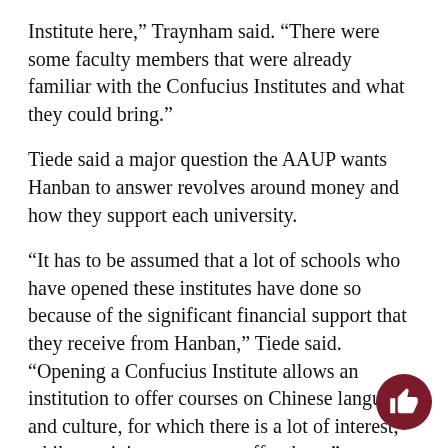Institute here,” Traynham said. “There were some faculty members that were already familiar with the Confucius Institutes and what they could bring.”
Tiede said a major question the AAUP wants Hanban to answer revolves around money and how they support each university.
“It has to be assumed that a lot of schools who have opened these institutes have done so because of the significant financial support that they receive from Hanban,” Tiede said. “Opening a Confucius Institute allows an institution to offer courses on Chinese language and culture, for which there is a lot of interest, while receiving support to offer them.”
Hanban financially supports the Confucius Institute faculty and educational resources, Traynham said appointed Dr. Ronghua Ouyang, UNF education
[Figure (illustration): Dark red circular thumbs-up icon button in bottom right corner]